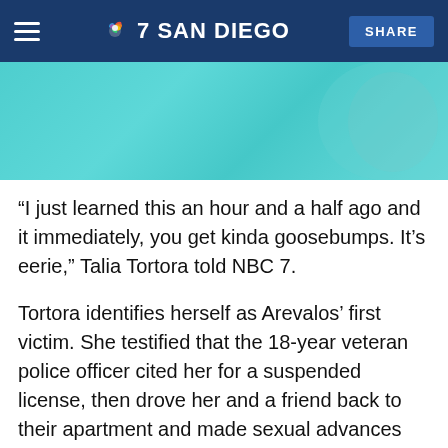7 SAN DIEGO | SHARE
[Figure (photo): Teal/turquoise background hero image, partially showing a blurred figure on the right side]
“I just learned this an hour and a half ago and it immediately, you get kinda goosebumps. It’s eerie,” Talia Tortora told NBC 7.
Tortora identifies herself as Arevalos’ first victim. She testified that the 18-year veteran police officer cited her for a suspended license, then drove her and a friend back to their apartment and made sexual advances toward both of them.
“So many people will just try to heal from this in a much longer time than he spent in jail. It seems like a slap on the